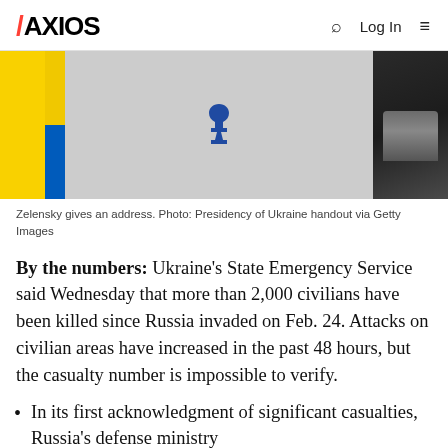AXIOS | Q | Log In | ≡
[Figure (photo): Zelensky giving an address at a podium with Ukrainian flag visible and trident emblem, someone's hand visible at right]
Zelensky gives an address. Photo: Presidency of Ukraine handout via Getty Images
By the numbers: Ukraine's State Emergency Service said Wednesday that more than 2,000 civilians have been killed since Russia invaded on Feb. 24. Attacks on civilian areas have increased in the past 48 hours, but the casualty number is impossible to verify.
In its first acknowledgment of significant casualties, Russia's defense ministry